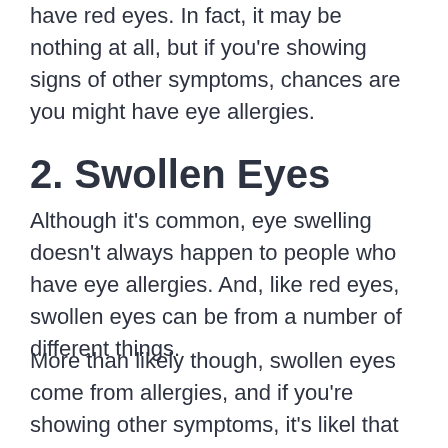have red eyes. In fact, it may be nothing at all, but if you're showing signs of other symptoms, chances are you might have eye allergies.
2. Swollen Eyes
Although it's common, eye swelling doesn't always happen to people who have eye allergies. And, like red eyes, swollen eyes can be from a number of different things.
More than likely though, swollen eyes come from allergies, and if you're showing other symptoms, it's likel that you have them.